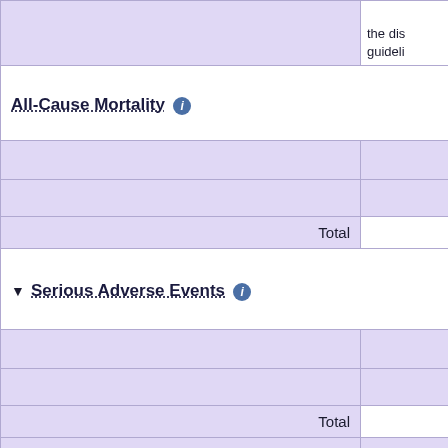| Category | Value |
| --- | --- |
| (top purple continuation row) | the dis... guideli... |
| All-Cause Mortality ℹ |  |
| (purple row 1) |  |
| (purple row 2) |  |
| Total |  |
| ▼ Serious Adverse Events ℹ |  |
| (purple row 1) |  |
| (purple row 2) |  |
| Total |  |
| Gastrointestinal disorders |  |
| Rectal haemorrhage †1 |  |
| Retroperitoneal haematoma †1 |  |
| Hepatobiliary disorders |  |
| Hepatotoxicity †1 |  |